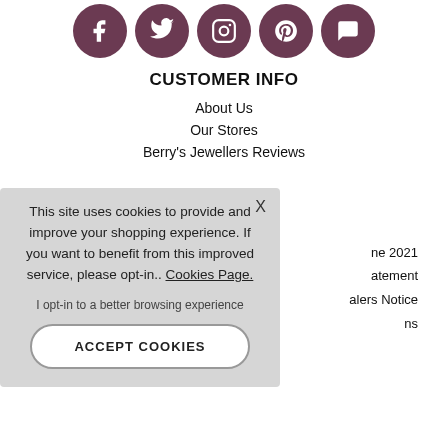[Figure (illustration): Row of 5 circular dark mauve social media icons: Facebook, Twitter, Instagram, Pinterest, and a chat/message icon]
CUSTOMER INFO
About Us
Our Stores
Berry's Jewellers Reviews
ne 2021
atement
alers Notice
ns
This site uses cookies to provide and improve your shopping experience. If you want to benefit from this improved service, please opt-in.. Cookies Page.
I opt-in to a better browsing experience
ACCEPT COOKIES